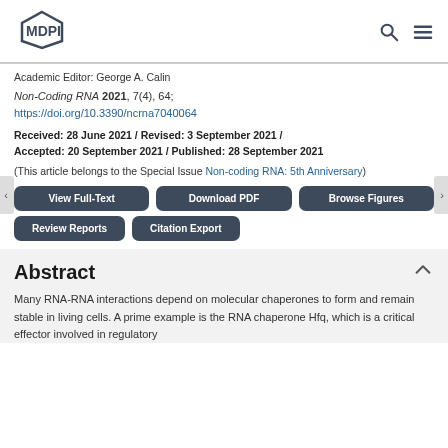MDPI
Academic Editor: George A. Calin
Non-Coding RNA 2021, 7(4), 64; https://doi.org/10.3390/ncrna7040064
Received: 28 June 2021 / Revised: 3 September 2021 / Accepted: 20 September 2021 / Published: 28 September 2021
(This article belongs to the Special Issue Non-coding RNA: 5th Anniversary)
View Full-Text | Download PDF | Browse Figures | Review Reports | Citation Export
Abstract
Many RNA-RNA interactions depend on molecular chaperones to form and remain stable in living cells. A prime example is the RNA chaperone Hfq, which is a critical effector involved in regulatory